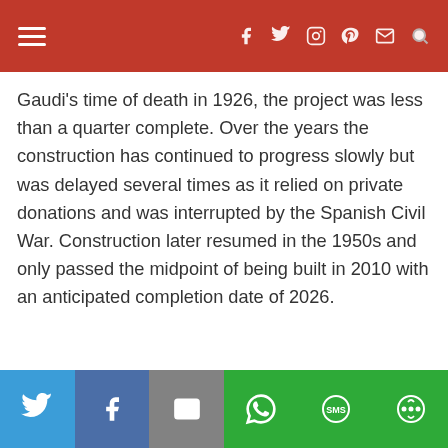Navigation bar with hamburger menu and social icons (Facebook, Twitter, Instagram, Pinterest, Email, Search)
Gaudi's time of death in 1926, the project was less than a quarter complete. Over the years the construction has continued to progress slowly but was delayed several times as it relied on private donations and was interrupted by the Spanish Civil War. Construction later resumed in the 1950s and only passed the midpoint of being built in 2010 with an anticipated completion date of 2026.
[Figure (photo): A woman with long brown hair smiling at the camera in a dimly lit interior setting.]
Share bar with Twitter, Facebook, Email, WhatsApp, SMS, and other sharing options